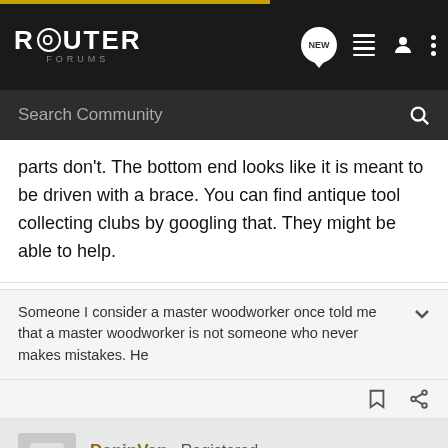ROUTER FORUMS
parts don't. The bottom end looks like it is meant to be driven with a brace. You can find antique tool collecting clubs by googling that. They might be able to help.
Someone I consider a master woodworker once told me that a master woodworker is not someone who never makes mistakes. He
DaninVan · Registered
Joined Dec 31, 2011 · 15,459 Posts
#3 · Sep 16, 2015